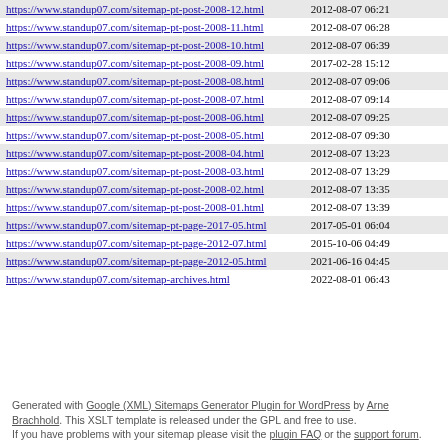| URL | Last Modified |
| --- | --- |
| https://www.standup07.com/sitemap-pt-post-2008-12.html | 2012-08-07 06:21 |
| https://www.standup07.com/sitemap-pt-post-2008-11.html | 2012-08-07 06:28 |
| https://www.standup07.com/sitemap-pt-post-2008-10.html | 2012-08-07 06:39 |
| https://www.standup07.com/sitemap-pt-post-2008-09.html | 2017-02-28 15:12 |
| https://www.standup07.com/sitemap-pt-post-2008-08.html | 2012-08-07 09:06 |
| https://www.standup07.com/sitemap-pt-post-2008-07.html | 2012-08-07 09:14 |
| https://www.standup07.com/sitemap-pt-post-2008-06.html | 2012-08-07 09:25 |
| https://www.standup07.com/sitemap-pt-post-2008-05.html | 2012-08-07 09:30 |
| https://www.standup07.com/sitemap-pt-post-2008-04.html | 2012-08-07 13:23 |
| https://www.standup07.com/sitemap-pt-post-2008-03.html | 2012-08-07 13:29 |
| https://www.standup07.com/sitemap-pt-post-2008-02.html | 2012-08-07 13:35 |
| https://www.standup07.com/sitemap-pt-post-2008-01.html | 2012-08-07 13:39 |
| https://www.standup07.com/sitemap-pt-page-2017-05.html | 2017-05-01 06:04 |
| https://www.standup07.com/sitemap-pt-page-2012-07.html | 2015-10-06 04:49 |
| https://www.standup07.com/sitemap-pt-page-2012-05.html | 2021-06-16 04:45 |
| https://www.standup07.com/sitemap-archives.html | 2022-08-01 06:43 |
Generated with Google (XML) Sitemaps Generator Plugin for WordPress by Arne Brachhold. This XSLT template is released under the GPL and free to use. If you have problems with your sitemap please visit the plugin FAQ or the support forum.